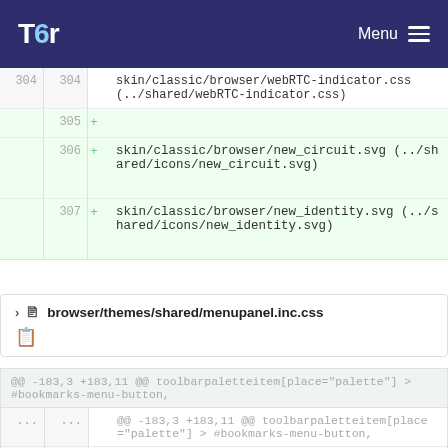Tor   Menu
| old | new | +/- | code |
| --- | --- | --- | --- |
| 304 | 304 |  | skin/classic/browser/webRTC-indicator.css (../shared/webRTC-indicator.css) |
|  | 305 | + |  |
|  | 306 | + | skin/classic/browser/new_circuit.svg (../shared/icons/new_circuit.svg) |
|  | 307 | + | skin/classic/browser/new_identity.svg (../shared/icons/new_identity.svg) |
browser/themes/shared/menupanel.inc.css
| old | new | +/- | code |
| --- | --- | --- | --- |
| ... | ... |  | @@ -183,3 +183,11 @@ toolbarpaletteitem[place="palette"] > #bookmarks-menu-button, |
| 183 | 183 |  | -moz-context-properties: fill, |